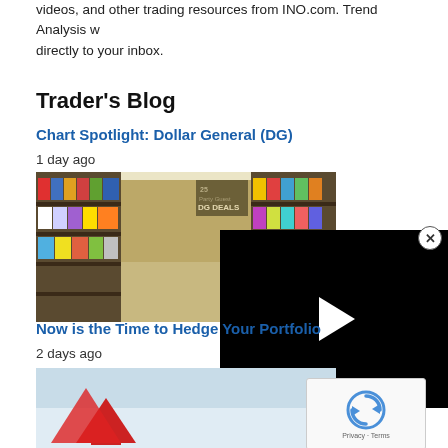videos, and other trading resources from INO.com. Trend Analysis w... directly to your inbox.
Trader's Blog
Chart Spotlight: Dollar General (DG)
1 day ago
[Figure (photo): Dollar General store aisle interior with DG Deals sign and colorful merchandise on shelves]
[Figure (other): Black video player overlay with white play button triangle]
Now is the Time to Hedge Your Portfolio
2 days ago
[Figure (photo): Image showing a red arrow graphic on a light blue/grey background, partially visible]
[Figure (other): reCAPTCHA verification box with Privacy and Terms links]